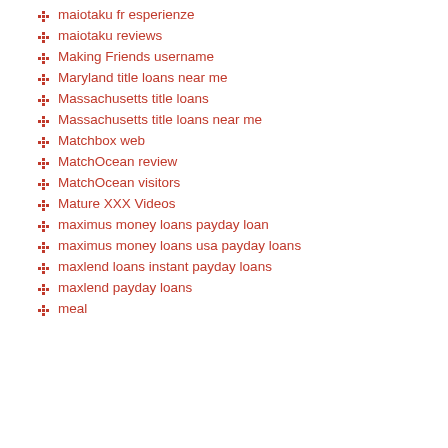maiotaku fr esperienze
maiotaku reviews
Making Friends username
Maryland title loans near me
Massachusetts title loans
Massachusetts title loans near me
Matchbox web
MatchOcean review
MatchOcean visitors
Mature XXX Videos
maximus money loans payday loan
maximus money loans usa payday loans
maxlend loans instant payday loans
maxlend payday loans
meal